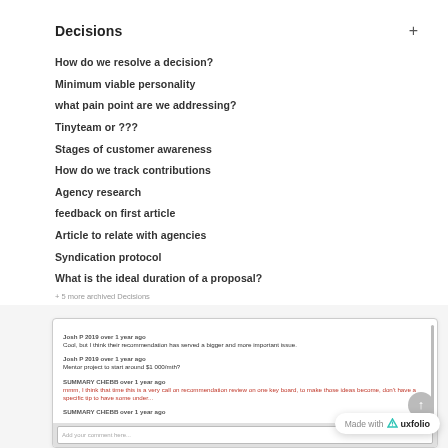Decisions
How do we resolve a decision?
Minimum viable personality
what pain point are we addressing?
Tinyteam or ???
Stages of customer awareness
How do we track contributions
Agency research
feedback on first article
Article to relate with agencies
Syndication protocol
What is the ideal duration of a proposal?
+ 5 more archived Decisions
Josh P 2019 over 1 year ago
Cool, but I think their recommendation has served a bigger and more important issue.

Josh P 2019 over 1 year ago
Mentor project to start around $1 000/mth?

SUMMARY CHEBB over 1 year ago
[red text]

SUMMARY CHEBB over 1 year ago
[red link]
Add your comment here...
Made with uxfolio